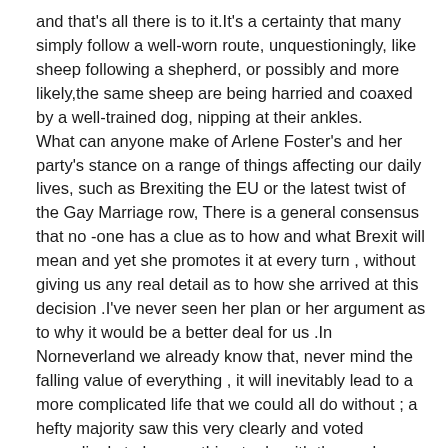and that's all there is to it.It's a certainty that many simply follow a well-worn route, unquestioningly, like sheep following a shepherd, or possibly and more likely,the same sheep are being harried and coaxed by a well-trained dog, nipping at their ankles.
What can anyone make of Arlene Foster's and her party's stance on a range of things affecting our daily lives, such as Brexiting the EU or the latest twist of the Gay Marriage row, There is a general consensus that no -one has a clue as to how and what Brexit will mean and yet she promotes it at every turn , without giving us any real detail as to how she arrived at this decision .I've never seen her plan or her argument as to why it would be a better deal for us .In Norneverland we already know that, never mind the falling value of everything , it will inevitably lead to a more complicated life that we could all do without ; a hefty majority saw this very clearly and voted accordingly to have nothing to do with the mad , proposed Non- Plan ; even the Prime Minister of the UK really has no notion and yet even now when it is transparent that the Prime Minister hasn't a clue, Arlene follows her blindly , clinging to